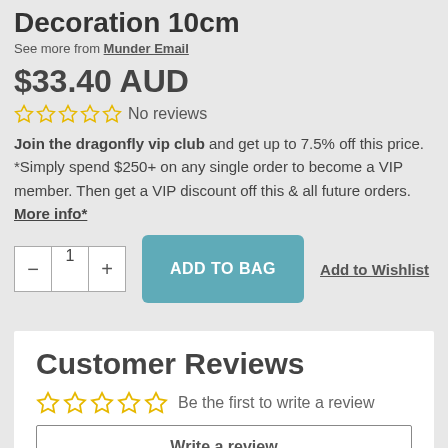Decoration 10cm
See more from Munder Email
$33.40 AUD
☆☆☆☆☆ No reviews
Join the dragonfly vip club and get up to 7.5% off this price. *Simply spend $250+ on any single order to become a VIP member. Then get a VIP discount off this & all future orders. More info*
− 1 + ADD TO BAG Add to Wishlist
Customer Reviews
☆☆☆☆☆ Be the first to write a review
Write a review